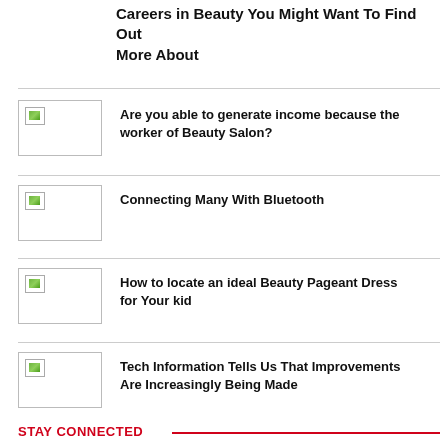Careers in Beauty You Might Want To Find Out More About
[Figure (photo): Thumbnail image placeholder]
Are you able to generate income because the worker of Beauty Salon?
[Figure (photo): Thumbnail image placeholder]
Connecting Many With Bluetooth
[Figure (photo): Thumbnail image placeholder]
How to locate an ideal Beauty Pageant Dress for Your kid
[Figure (photo): Thumbnail image placeholder]
Tech Information Tells Us That Improvements Are Increasingly Being Made
STAY CONNECTED